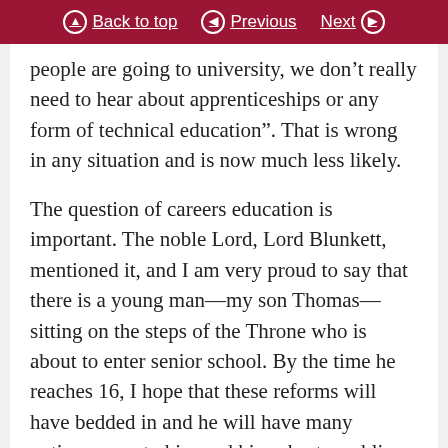Back to top | Previous | Next
people are going to university, we don’t really need to hear about apprenticeships or any form of technical education”. That is wrong in any situation and is now much less likely.
The question of careers education is important. The noble Lord, Lord Blunkett, mentioned it, and I am very proud to say that there is a young man—my son Thomas—sitting on the steps of the Throne who is about to enter senior school. By the time he reaches 16, I hope that these reforms will have bedded in and he will have many options open to him and his cohort, enabling them to make informed decisions on how their lives will pan out, whether through further education, higher education, apprenticeships or whatever. I very much